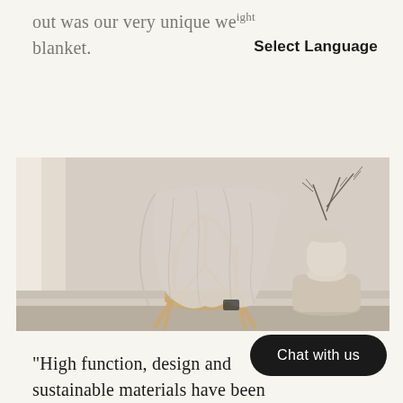out was our very unique weight blanket.
Select Language
[Figure (photo): A light linen blanket draped over a wooden wishbone chair, with a round white vase holding dried branches on a small cylindrical pedestal, set against a neutral wall with white wainscoting.]
Chat with us
"High function, design and sustainable materials have been